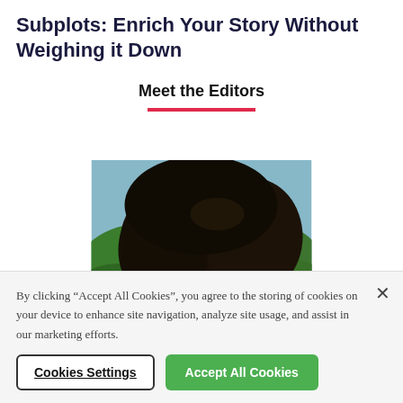Subplots: Enrich Your Story Without Weighing it Down
Meet the Editors
[Figure (photo): Close-up photo of a person with dark hair against a green outdoor background]
By clicking “Accept All Cookies”, you agree to the storing of cookies on your device to enhance site navigation, analyze site usage, and assist in our marketing efforts.
Cookies Settings
Accept All Cookies